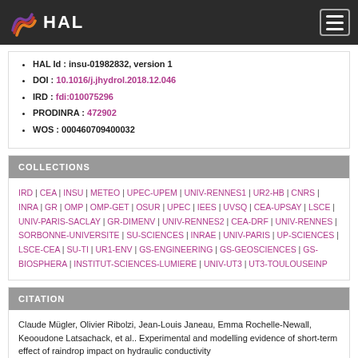HAL
HAL Id : insu-01982832, version 1
DOI : 10.1016/j.jhydrol.2018.12.046
IRD : fdi:010075296
PRODINRA : 472902
WOS : 000460709400032
COLLECTIONS
IRD | CEA | INSU | METEO | UPEC-UPEM | UNIV-RENNES1 | UR2-HB | CNRS | INRA | GR | OMP | OMP-GET | OSUR | UPEC | IEES | UVSQ | CEA-UPSAY | LSCE | UNIV-PARIS-SACLAY | GR-DIMENV | UNIV-RENNES2 | CEA-DRF | UNIV-RENNES | SORBONNE-UNIVERSITE | SU-SCIENCES | INRAE | UNIV-PARIS | UP-SCIENCES | LSCE-CEA | SU-TI | UR1-ENV | GS-ENGINEERING | GS-GEOSCIENCES | GS-BIOSPHERA | INSTITUT-SCIENCES-LUMIERE | UNIV-UT3 | UT3-TOULOUSEINP
CITATION
Claude Mügler, Olivier Ribolzi, Jean-Louis Janeau, Emma Rochelle-Newall, Keooudone Latsachack, et al.. Experimental and modelling evidence of short-term effect of raindrop impact on hydraulic conductivity